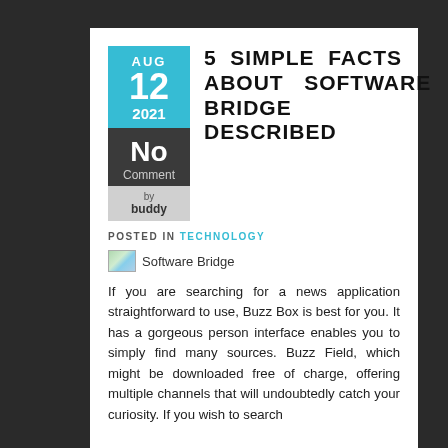5 SIMPLE FACTS ABOUT SOFTWARE BRIDGE DESCRIBED
POSTED IN TECHNOLOGY
[Figure (photo): Software Bridge image placeholder]
If you are searching for a news application straightforward to use, Buzz Box is best for you. It has a gorgeous person interface enables you to simply find many sources. Buzz Field, which might be downloaded free of charge, offering multiple channels that will undoubtedly catch your curiosity. If you wish to search for a topic, simply type it in